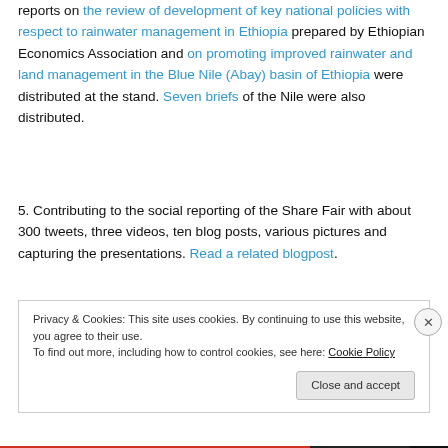reports on the review of development of key national policies with respect to rainwater management in Ethiopia prepared by Ethiopian Economics Association and on promoting improved rainwater and land management in the Blue Nile (Abay) basin of Ethiopia were distributed at the stand. Seven briefs of the Nile were also distributed.
5. Contributing to the social reporting of the Share Fair with about 300 tweets, three videos, ten blog posts, various pictures and capturing the presentations. Read a related blogpost.
Privacy & Cookies: This site uses cookies. By continuing to use this website, you agree to their use. To find out more, including how to control cookies, see here: Cookie Policy
Close and accept